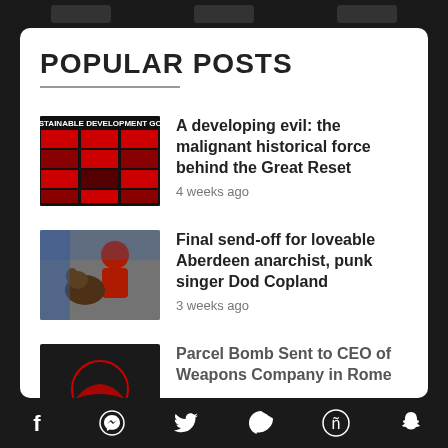POPULAR POSTS
A developing evil: the malignant historical force behind the Great Reset — 4 weeks ago
Final send-off for loveable Aberdeen anarchist, punk singer Dod Copland — 3 weeks ago
Parcel Bomb Sent to CEO of Weapons Company in Rome